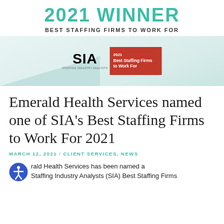2021 WINNER
BEST STAFFING FIRMS TO WORK FOR
[Figure (logo): SIA (Staffing Industry Analysts) logo with a red badge reading '2021 Best Staffing Firms to Work For', displayed on a light teal/mint gradient banner with a diagonal triangle accent.]
Emerald Health Services named one of SIA's Best Staffing Firms to Work For 2021
MARCH 12, 2021  /  CLIENT SERVICES, NEWS
Emerald Health Services has been named a Staffing Industry Analysts (SIA) Best Staffing Firms